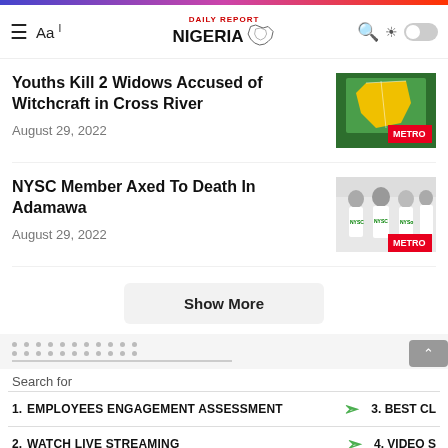DAILY REPORT NIGERIA
Youths Kill 2 Widows Accused of Witchcraft in Cross River
August 29, 2022
NYSC Member Axed To Death In Adamawa
August 29, 2022
Show More
Search for
1. EMPLOYEES ENGAGEMENT ASSESSMENT
2. WATCH LIVE STREAMING
3. BEST CL
4. VIDEO S
Yahoo! Search | Sponsored